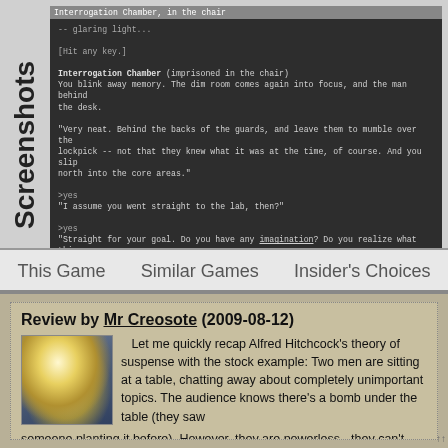[Figure (screenshot): Text adventure game screenshot showing Interrogation Chamber scene with green monospace text on dark background. Shows location bar 'Interrogation Chamber, in the chair', glaring light description, [Hit any key.] prompt, room description about blinking away memory, dialogue about lockpick and guards, >yes commands, and old days watermark.]
Screenshots
This Game   Similar Games   Insider's Choices
Review by Mr Creosote (2009-08-12)
[Figure (illustration): Fantasy illustration of a robed figure (wizard or sorcerer) with glowing light, holding what appears to be a crystal ball or magical object, with flowing hair/robes in blue and gold tones.]
Let me quickly recap Alfred Hitchcock's theory of suspense with the stock example: Two men are sitting at a table, chatting away about completely unimportant topics. The audience knows there's a bomb under the table (they saw someone planting it before). However, they are powerless - they can't interfere. They want to warn the